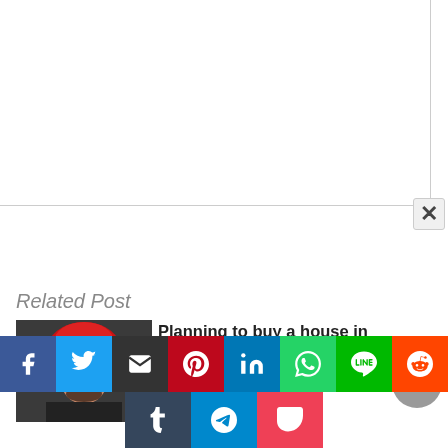[Figure (screenshot): White modal overlay with close button (×) in top right corner]
Related Post
[Figure (photo): Photo of a man wearing a red turban against a dark background]
Planning to buy a house in Toronto? Follow Mandeep Dhesi's advice!
[Figure (illustration): Social share buttons row: Facebook, Twitter, Email, Pinterest, LinkedIn, WhatsApp, Line, Reddit]
[Figure (illustration): Social share buttons second row: Tumblr, Telegram, Pocket]